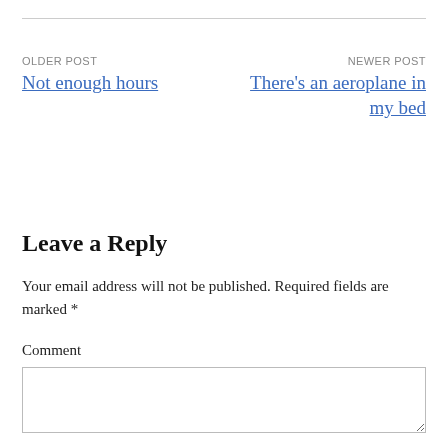OLDER POST
Not enough hours
NEWER POST
There's an aeroplane in my bed
Leave a Reply
Your email address will not be published. Required fields are marked *
Comment